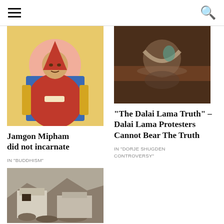Navigation bar with hamburger menu and search icon
[Figure (illustration): Tibetan Buddhist painting of a lama (Jamgon Mipham) seated on a throne, wearing red robes and a pointed red hat, with a pink halo behind his head]
Jamgon Mipham did not incarnate
IN "BUDDHISM"
[Figure (photo): Dark classical painting showing a figure reflected in water or lying down, with muted brown tones]
“The Dalai Lama Truth” – Dalai Lama Protesters Cannot Bear The Truth
IN "DORJE SHUGDEN CONTROVERSY"
[Figure (photo): Photo of a ruined or rustic building structure in what appears to be a remote Tibetan or Himalayan setting with rubble and stone walls]
Tibet’s Mystic